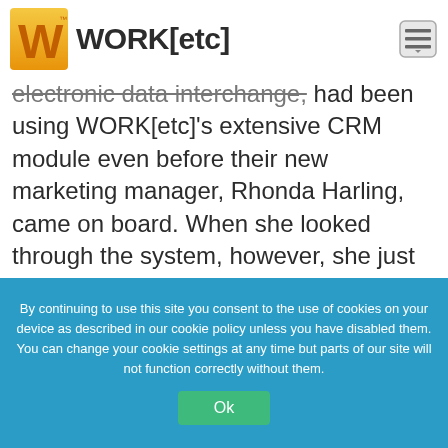[Figure (logo): WORK[etc] logo with orange W icon and text WORK[etc]]
electronic data interchange, had been using WORK[etc]'s extensive CRM module even before their new marketing manager, Rhonda Harling, came on board. When she looked through the system, however, she just knew that it could be used to do so much more than keep track of contacts.
By continuing to use this site you consent to the use of cookies on your device as described in our cookie policy unless you have disabled them. You can change your cookie settings at any time but parts of our site will not function correctly without them.